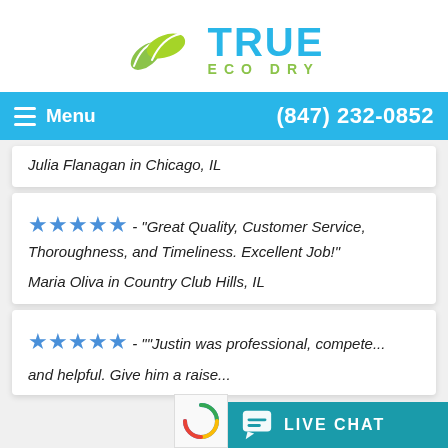[Figure (logo): True Eco Dry logo with two green leaves and blue/green text]
Menu   (847) 232-0852
Julia Flanagan in Chicago, IL
★★★★★ - "Great Quality, Customer Service, Thoroughness, and Timeliness. Excellent Job!"
Maria Oliva in Country Club Hills, IL
★★★★★ - ""Justin was professional, compete... and helpful. Give him a raise..."
[Figure (screenshot): Live Chat button overlay at bottom right]